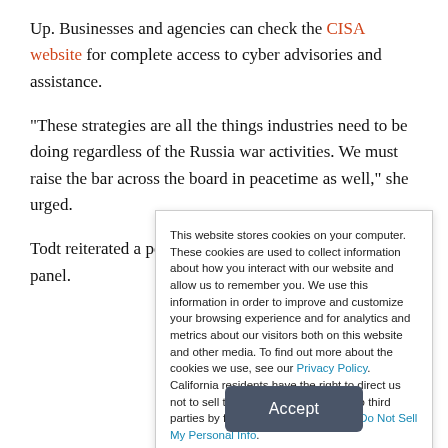Up. Businesses and agencies can check the CISA website for complete access to cyber advisories and assistance.
“These strategies are all the things industries need to be doing regardless of the Russia war activities. We must raise the bar across the board in peacetime as well,” she urged.
Todt reiterated a point made by other presenters on the panel.
This website stores cookies on your computer. These cookies are used to collect information about how you interact with our website and allow us to remember you. We use this information in order to improve and customize your browsing experience and for analytics and metrics about our visitors both on this website and other media. To find out more about the cookies we use, see our Privacy Policy. California residents have the right to direct us not to sell their personal information to third parties by filing an Opt-Out Request: Do Not Sell My Personal Info.
Accept